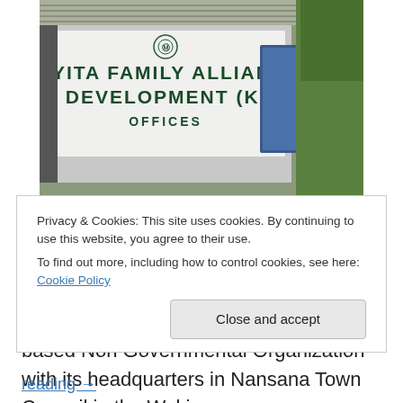[Figure (photo): Photograph of the KIFAD (Kiyita Family Alliance for Development) office sign mounted on a building exterior. The sign reads 'KIYITA FAMILY ALLIANCE FOR DEVELOPMENT (KIFAD) OFFICES' in bold dark green letters on a white background, with a logo at the top.]
KIFAD office
I had the opportunity to visit the Kiyita Family Alliance for Development (KIFAD) last week. KIFAD is a local community based Non Governmental Organization with its headquarters in Nansana Town Council in the Wakiso District of Uganda... continue reading →
Privacy & Cookies: This site uses cookies. By continuing to use this website, you agree to their use.
To find out more, including how to control cookies, see here: Cookie Policy
Close and accept